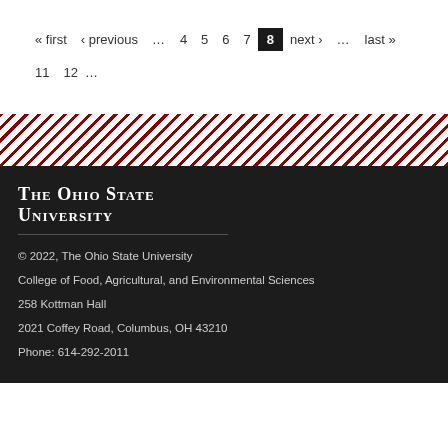« first ‹ previous … 4 5 6 7 8 next › … last »  11 12 …
[Figure (infographic): Red and white diagonal stripe decorative band]
The Ohio State University
© 2022, The Ohio State University
College of Food, Agricultural, and Environmental Sciences
258 Kottman Hall
2021 Coffey Road, Columbus, OH 43210
Phone: 614-292-2011